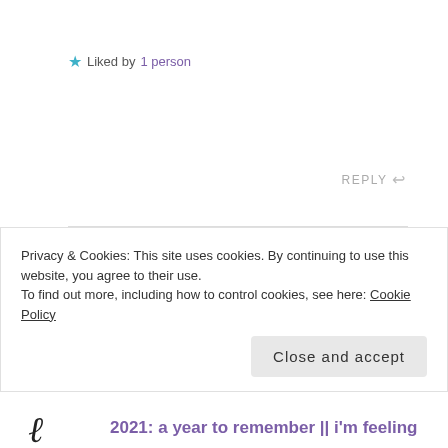★ Liked by 1 person
REPLY ↩
Maya Rajesh says: 13TH DEC 2021 AT 9:26 AM
Thank you! So glad you enjoyed reading 🙂
★ Liked by 1 person
Privacy & Cookies: This site uses cookies. By continuing to use this website, you agree to their use.
To find out more, including how to control cookies, see here: Cookie Policy
Close and accept
2021: a year to remember || i'm feeling